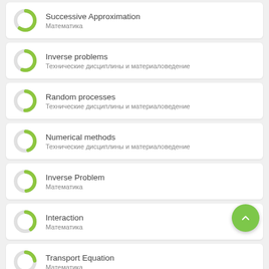Successive Approximation — Математика
Inverse problems — Технические дисциплины и материаловедение
Random processes — Технические дисциплины и материаловедение
Numerical methods — Технические дисциплины и материаловедение
Inverse Problem — Математика
Interaction — Математика
Transport Equation — Математика